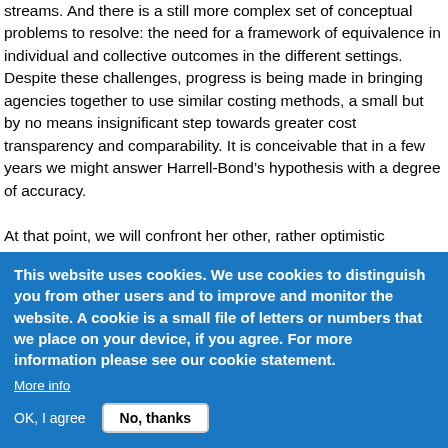streams. And there is a still more complex set of conceptual problems to resolve: the need for a framework of equivalence in individual and collective outcomes in the different settings. Despite these challenges, progress is being made in bringing agencies together to use similar costing methods, a small but by no means insignificant step towards greater cost transparency and comparability. It is conceivable that in a few years we might answer Harrell-Bond's hypothesis with a degree of accuracy.
At that point, we will confront her other, rather optimistic hypothesis that better information will lead to better interventions. This hope underpins both books and stands in stark contrast to her analysis of agency self-interest in perpetuating camps as the primary location for aid provision.
This website uses cookies. We use cookies to distinguish you from other users and to improve and monitor the website. A cookie is a small file of letters or numbers that we place on your device, if you agree. For more information please see our cookie statement.
More info
OK, I agree    No, thanks